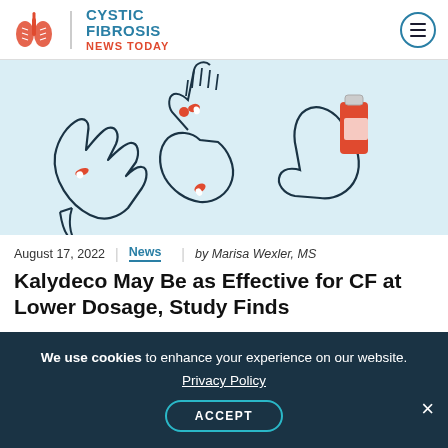Cystic Fibrosis News Today
[Figure (illustration): Illustration of three hands holding pills and a medicine bottle against a light blue background]
August 17, 2022 | News | by Marisa Wexler, MS
Kalydeco May Be as Effective for CF at Lower Dosage, Study Finds
We use cookies to enhance your experience on our website. Privacy Policy ACCEPT